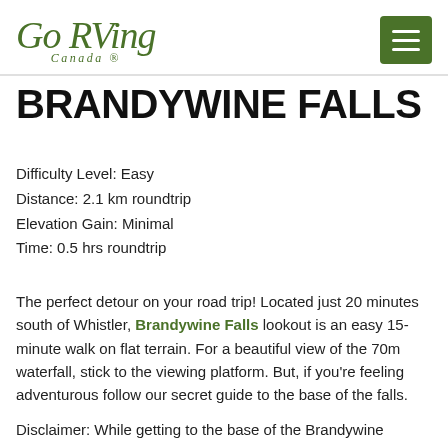[Figure (logo): Go RVing Canada logo in olive green italic script font with registered trademark symbol]
[Figure (other): Hamburger menu button — dark olive green square with three white horizontal lines]
BRANDYWINE FALLS
Difficulty Level: Easy
Distance: 2.1 km roundtrip
Elevation Gain: Minimal
Time: 0.5 hrs roundtrip
The perfect detour on your road trip! Located just 20 minutes south of Whistler, Brandywine Falls lookout is an easy 15-minute walk on flat terrain. For a beautiful view of the 70m waterfall, stick to the viewing platform. But, if you're feeling adventurous follow our secret guide to the base of the falls.
Disclaimer: While getting to the base of the Brandywine